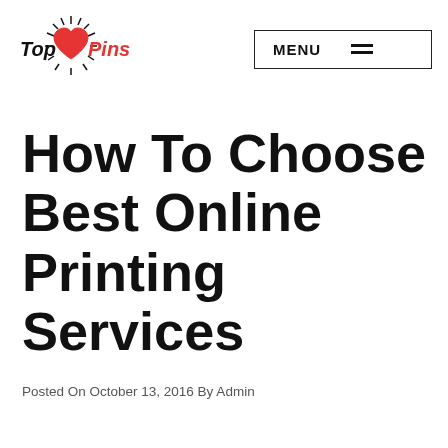Top Pins — MENU
How To Choose Best Online Printing Services
Posted On October 13, 2016 By Admin